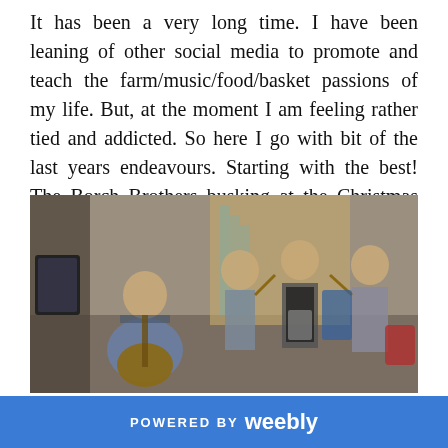It has been a very long time. I have been leaning of other social media to promote and teach the farm/music/food/basket passions of my life. But, at the moment I am feeling rather tied and addicted. So here I go with bit of the last years endeavours. Starting with the best! The Borch Brothers busking at the Christmas Market,
[Figure (photo): Four men playing musical instruments indoors at a Christmas Market. One man sits with an acoustic guitar, two stand playing fiddle and accordion respectively, and one stands playing violin. They are dressed in casual caps and shirts.]
POWERED BY weebly